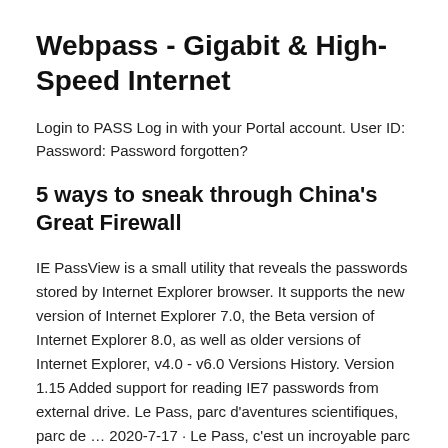Webpass - Gigabit & High-Speed Internet
Login to PASS Log in with your Portal account. User ID: Password: Password forgotten?
5 ways to sneak through China's Great Firewall
IE PassView is a small utility that reveals the passwords stored by Internet Explorer browser. It supports the new version of Internet Explorer 7.0, the Beta version of Internet Explorer 8.0, as well as older versions of Internet Explorer, v4.0 - v6.0 Versions History. Version 1.15 Added support for reading IE7 passwords from external drive. Le Pass, parc d'aventures scientifiques, parc de … 2020-7-17 · Le Pass, c'est un incroyable parc d'aventures scientifiques. En famille, avec l'école ou en groupe, faites le plein d'expériences physiques